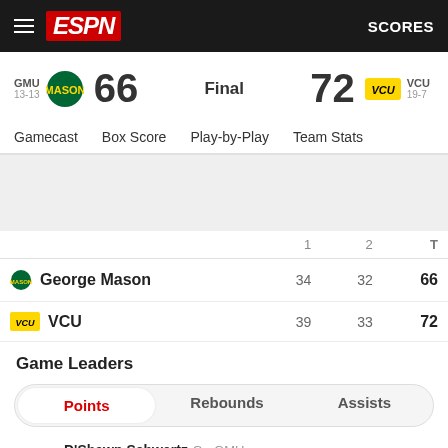ESPN  SCORES
GMU 13-13  66  Final  72  VCU 19-7
Gamecast  Box Score  Play-by-Play  Team Stats
|  | 1 | 2 | T |
| --- | --- | --- | --- |
| George Mason | 34 | 32 | 66 |
| VCU | 39 | 33 | 72 |
Game Leaders
Points  Rebounds  Assists
D'Shawn Schwartz G - GMU  22 PTS  8/15 FG  3/5 FT